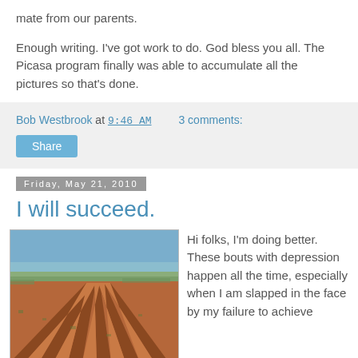mate from our parents.
Enough writing. I've got work to do. God bless you all. The Picasa program finally was able to accumulate all the pictures so that's done.
Bob Westbrook at 9:46 AM    3 comments:
Share
Friday, May 21, 2010
I will succeed.
[Figure (photo): Plowed red dirt field with furrow rows stretching into the distance under a blue sky with sparse scrub vegetation on the horizon.]
Hi folks, I'm doing better. These bouts with depression happen all the time, especially when I am slapped in the face by my failure to achieve